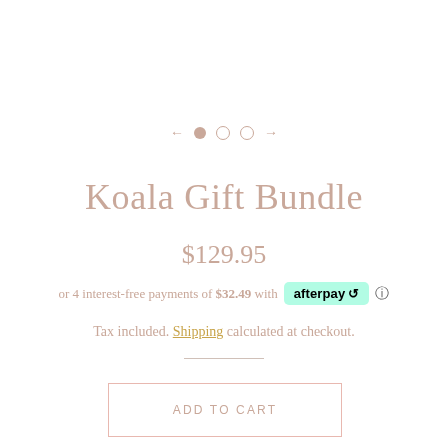[Figure (other): Image carousel navigation with left arrow, filled dot, two empty dots, and right arrow in muted rose color]
Koala Gift Bundle
$129.95
or 4 interest-free payments of $32.49 with afterpay
Tax included. Shipping calculated at checkout.
ADD TO CART